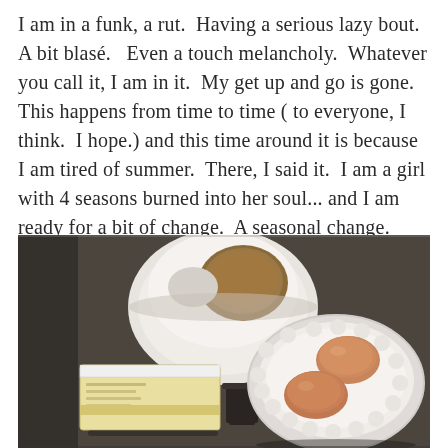I am in a funk, a rut.  Having a serious lazy bout.  A bit blasé.   Even a touch melancholy.  Whatever you call it, I am in it.  My get up and go is gone.  This happens from time to time ( to everyone, I think.  I hope.) and this time around it is because I am tired of summer.  There, I said it.  I am a girl with 4 seasons burned into her soul... and I am ready for a bit of change.  A seasonal change.
[Figure (photo): Overhead view of baking ingredients on a dark surface: a white mixing bowl with brown sugar or flour, a stick of butter in white paper wrapper, a small measuring cup or jar, and a white scalloped bowl containing two brown eggs.]